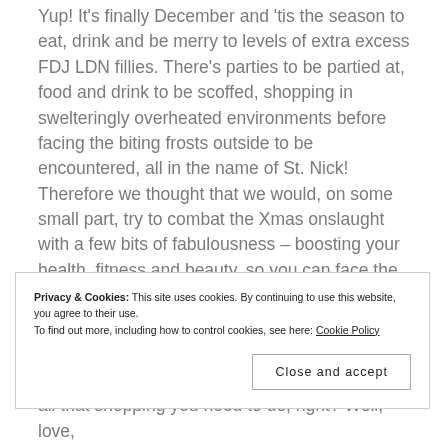Yup! It's finally December and 'tis the season to eat, drink and be merry to levels of extra excess FDJ LDN fillies. There's parties to be partied at, food and drink to be scoffed, shopping in swelteringly overheated environments before facing the biting frosts outside to be encountered, all in the name of St. Nick! Therefore we thought that we would, on some small part, try to combat the Xmas onslaught with a few bits of fabulousness – boosting your health, fitness and beauty, so you can face the season at your sparkling best! In our first in our "'Tis the Season"
Privacy & Cookies: This site uses cookies. By continuing to use this website, you agree to their use.
To find out more, including how to control cookies, see here: Cookie Policy
Close and accept
all that shopping you need to do, right? Well, love,